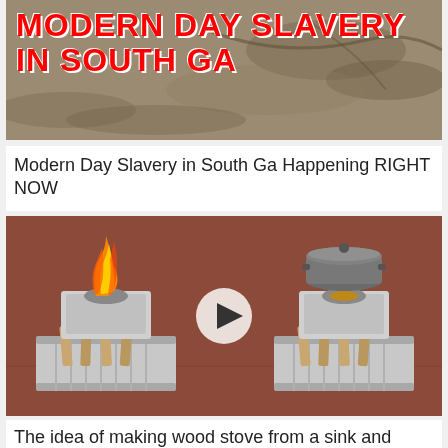[Figure (photo): Banner image with red bold text reading 'MODERN DAY SLAVERY IN SOUTH GA' overlaid on a brownish background]
Modern Day Slavery in South Ga Happening RIGHT NOW
[Figure (photo): Video thumbnail showing two wood stoves made from metal sinks, one with open flame and one with a pot on top, with a play button in the center]
The idea of making wood stove from a sink and cement